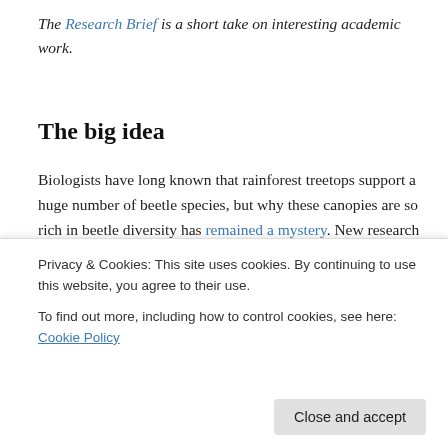The Research Brief is a short take on interesting academic work.
The big idea
Biologists have long known that rainforest treetops support a huge number of beetle species, but why these canopies are so rich in beetle diversity has remained a mystery. New research by my colleague Susan Kirmse and me shows that flowering trees play a critical role in maintaining this diversity, and that beetles may be among…
Privacy & Cookies: This site uses cookies. By continuing to use this website, you agree to their use.
To find out more, including how to control cookies, see here: Cookie Policy